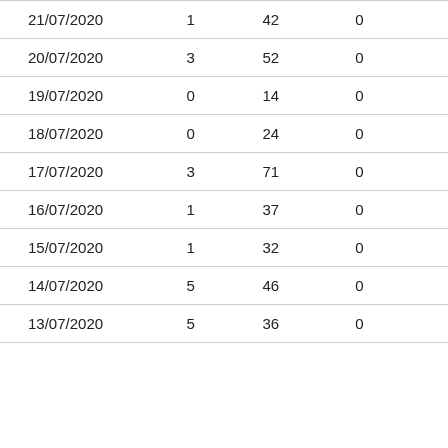| 21/07/2020 | 1 | 42 | 0 |
| 20/07/2020 | 3 | 52 | 0 |
| 19/07/2020 | 0 | 14 | 0 |
| 18/07/2020 | 0 | 24 | 0 |
| 17/07/2020 | 3 | 71 | 0 |
| 16/07/2020 | 1 | 37 | 0 |
| 15/07/2020 | 1 | 32 | 0 |
| 14/07/2020 | 5 | 46 | 0 |
| 13/07/2020 | 5 | 36 | 0 |